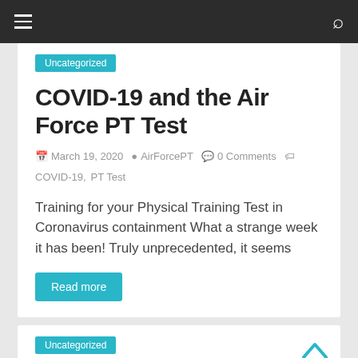Navigation bar with hamburger menu and search icon
Uncategorized
COVID-19 and the Air Force PT Test
March 19, 2020  AirForcePT  0 Comments  COVID-19, PT Test
Training for your Physical Training Test in Coronavirus containment What a strange week it has been! Truly unprecedented, it seems
Read more
Uncategorized